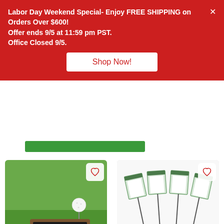Labor Day Weekend Special- Enjoy FREE SHIPPING on Orders Over $600!
Offer ends 9/5 at 11:59 pm PST.
Office Closed 9/5.
Shop Now!
[Figure (photo): Golf course distance sign showing '197' on green grass with a golf ball nearby]
Par 3 Distance Sign – Improve Pace of Play
$6.50 – $44.00
[Figure (photo): Four white proximity marker replacement cards on metal stakes arranged in a fan pattern]
Proximity Marker Replacement Cards (pack of 25)